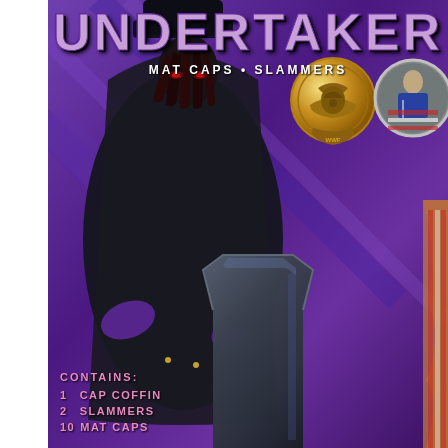UNDERTAKER
MAT CAPS • SLAMMERS
[Figure (photo): WWE Undertaker product packaging showing the Undertaker character in black costume, a gold medallion, a round photo inset, a black coffin-shaped slammer toy, and product contents listing. Purple background with diagonal stripe design.]
CONTAINS:
1   CAP COFFIN
2   SLAMMERS
10  MAT CAPS